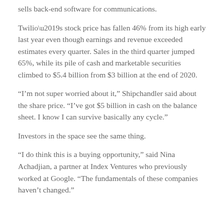sells back-end software for communications.
Twilio’s stock price has fallen 46% from its high early last year even though earnings and revenue exceeded estimates every quarter. Sales in the third quarter jumped 65%, while its pile of cash and marketable securities climbed to $5.4 billion from $3 billion at the end of 2020.
“I’m not super worried about it,” Shipchandler said about the share price. “I’ve got $5 billion in cash on the balance sheet. I know I can survive basically any cycle.”
Investors in the space see the same thing.
“I do think this is a buying opportunity,” said Nina Achadjian, a partner at Index Ventures who previously worked at Google. “The fundamentals of these companies haven’t changed.”